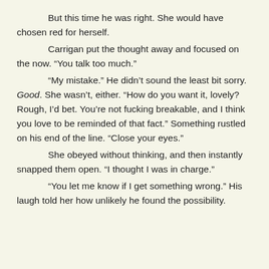But this time he was right. She would have chosen red for herself.
	Carrigan put the thought away and focused on the now. “You talk too much.”
	“My mistake.” He didn’t sound the least bit sorry. Good. She wasn’t, either. “How do you want it, lovely? Rough, I’d bet. You’re not fucking breakable, and I think you love to be reminded of that fact.” Something rustled on his end of the line. “Close your eyes.”
	She obeyed without thinking, and then instantly snapped them open. “I thought I was in charge.”
	“You let me know if I get something wrong.” His laugh told her how unlikely he found the possibility.